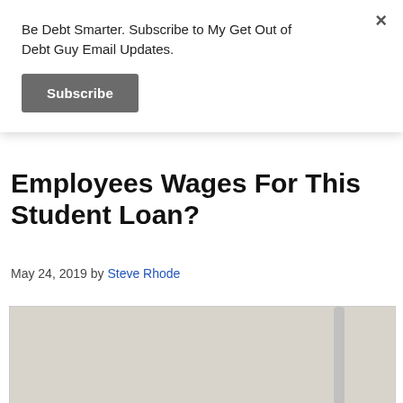Be Debt Smarter. Subscribe to My Get Out of Debt Guy Email Updates.
Subscribe
Employees Wages For This Student Loan?
May 24, 2019 by Steve Rhode
[Figure (photo): A metal hook/bracket holding a sticky note that reads 'NOW YOU ARE IN TROUBLE!']